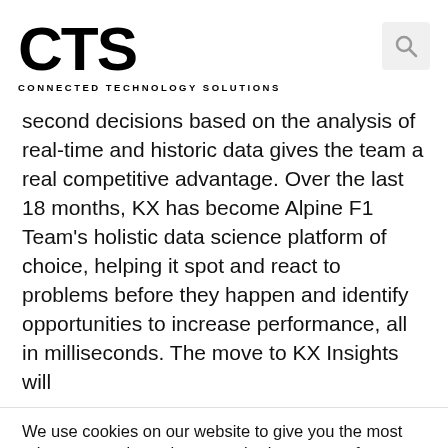CTS CONNECTED TECHNOLOGY SOLUTIONS
second decisions based on the analysis of real-time and historic data gives the team a real competitive advantage. Over the last 18 months, KX has become Alpine F1 Team's holistic data science platform of choice, helping it spot and react to problems before they happen and identify opportunities to increase performance, all in milliseconds. The move to KX Insights will
We use cookies on our website to give you the most relevant experience by remembering your preferences and repeat visits. By clicking “Accept”, you consent to the use of ALL the cookies.
Cookie settings  ACCEPT